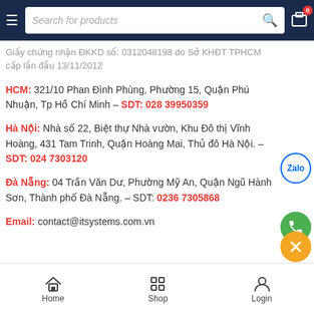Search for products
Giấy chứng nhận ĐKKD số: 0312048198 do Sở KHĐT TPHCM cấp lần đầu 13/11/2012
HCM: 321/10 Phan Đình Phùng, Phường 15, Quận Phú Nhuận, Tp Hồ Chí Minh – SDT: 028 39950359
Hà Nội: Nhà số 22, Biệt thự Nhà vườn, Khu Đô thị Vĩnh Hoàng, 431 Tam Trinh, Quận Hoàng Mai, Thủ đô Hà Nội. – SDT: 024 73031200
Đà Nẵng: 04 Trần Văn Dư, Phường Mỹ An, Quận Ngũ Hành Sơn, Thành phố Đà Nẵng. – SDT: 0236 7305868
Email: contact@itsystems.com.vn
Home  Shop  Login